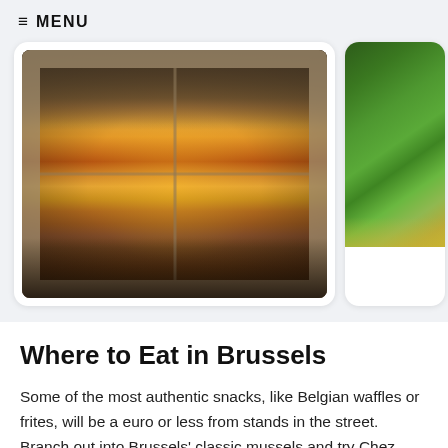≡ MENU
[Figure (photo): View from a window of the Grand Place in Brussels with a colorful flower carpet and crowds of people below, ornate buildings in background]
[Figure (photo): Partial view of a garden with green plants and a path]
Where to Eat in Brussels
Some of the most authentic snacks, like Belgian waffles or frites, will be a euro or less from stands in the street. Branch out into Brussels' classic mussels and try Chez Léon near Grand Place or La Brouette nearby for a cozy, intimate dining feeling. Brussels also loves Thai and